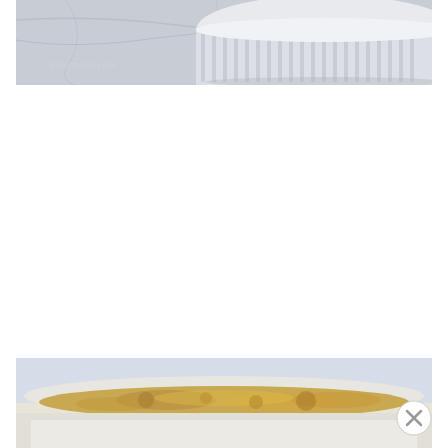[Figure (photo): Close-up photo of a white fluted ceramic baking dish on a marble surface, with 'skinnytaste.com' watermark in bottom left corner. Blue-gray tones.]
[Figure (photo): Close-up photo of a baked casserole or quiche in a white ceramic dish, showing golden-brown cheesy or eggy top. Light blue background.]
[Figure (other): Close button (X in circle) overlay in the bottom right corner of the page.]